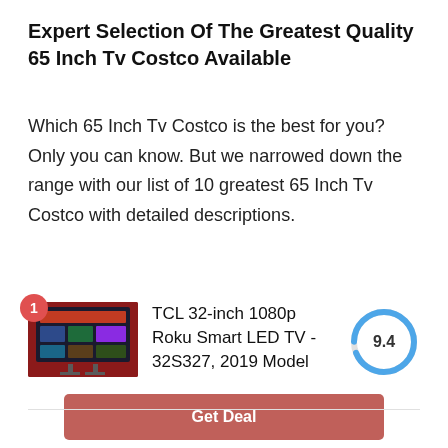Expert Selection Of The Greatest Quality 65 Inch Tv Costco Available
Which 65 Inch Tv Costco is the best for you? Only you can know. But we narrowed down the range with our list of 10 greatest 65 Inch Tv Costco with detailed descriptions.
[Figure (other): Product listing card showing TCL 32-inch 1080p Roku Smart LED TV - 32S327, 2019 Model with a score of 9.4, a Get Deal button, and Amazon.com label]